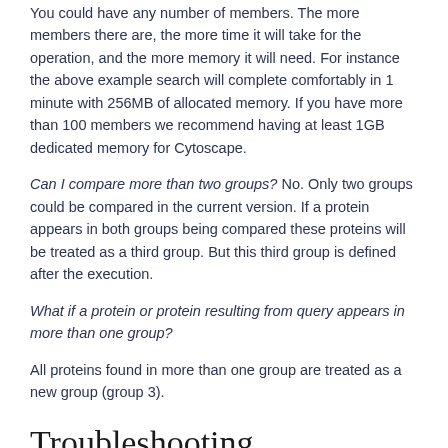You could have any number of members. The more members there are, the more time it will take for the operation, and the more memory it will need. For instance the above example search will complete comfortably in 1 minute with 256MB of allocated memory. If you have more than 100 members we recommend having at least 1GB dedicated memory for Cytoscape.
Can I compare more than two groups? No. Only two groups could be compared in the current version. If a protein appears in both groups being compared these proteins will be treated as a third group. But this third group is defined after the execution.
What if a protein or protein resulting from query appears in more than one group?
All proteins found in more than one group are treated as a new group (group 3).
Troubleshooting